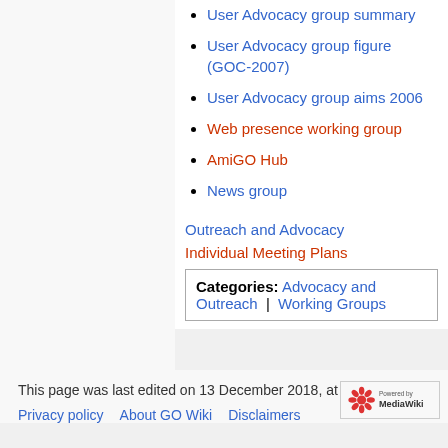User Advocacy group summary
User Advocacy group figure (GOC-2007)
User Advocacy group aims 2006
Web presence working group
AmiGO Hub
News group
Outreach and Advocacy
Individual Meeting Plans
Categories: Advocacy and Outreach | Working Groups
This page was last edited on 13 December 2018, at 09:55.
Privacy policy   About GO Wiki   Disclaimers